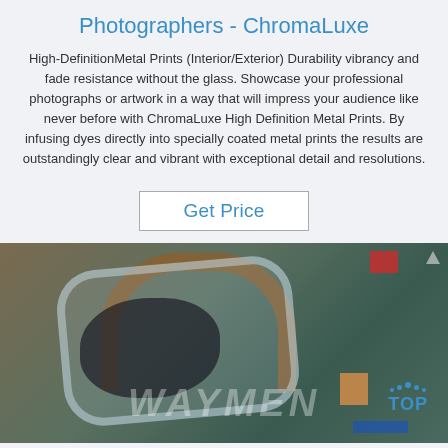Photographers - ChromaLuxe
High-DefinitionMetal Prints (Interior/Exterior) Durability vibrancy and fade resistance without the glass. Showcase your professional photographs or artwork in a way that will impress your audience like never before with ChromaLuxe High Definition Metal Prints. By infusing dyes directly into specially coated metal prints the results are outstandingly clear and vibrant with exceptional detail and resolutions.
Get Price
[Figure (photo): Photo of metal print materials including a horseshoe-shaped brown metal arch, plastic wrapping, dark packaging material, wooden blocks, red piece, and blue stripe on a green surface. A 'TOP' logo watermark with blue dots appears in the lower right, and a faint text watermark is visible across the bottom center.]